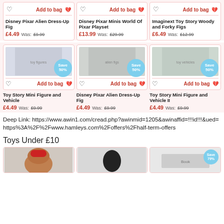[Figure (screenshot): Top row of three product cards (partially visible): Disney Pixar Alien Dress-Up Fig, Disney Pixar Minis World Of Pixar Playset, Imaginext Toy Story Woody and Forky Figs with Add to bag buttons and heart icons]
Disney Pixar Alien Dress-Up Fig
£4.49  Was: £9.99
Disney Pixar Minis World Of Pixar Playset
£13.99  Was: £29.99
Imaginext Toy Story Woody and Forky Figs
£6.49  Was: £12.99
[Figure (photo): Three product cards: Toy Story Mini Figure and Vehicle, Disney Pixar Alien Dress-Up Fig, Toy Story Mini Figure and Vehicle II — each with Save 50% badge, product image, heart icon, Add to bag button]
Toy Story Mini Figure and Vehicle
£4.49  Was: £9.99
Disney Pixar Alien Dress-Up Fig
£4.49  Was: £9.99
Toy Story Mini Figure and Vehicle II
£4.49  Was: £9.99
Deep Link: https://www.awin1.com/cread.php?awinmid=1205&awinaffid=!!!id!!!&ued=https%3A%2F%2Fwww.hamleys.com%2Foffers%2Fhalf-term-offers
Toys Under £10
[Figure (photo): Bottom partial row of three product cards (cropped): bear with red hat, dark figure, and a third card with Save 79% badge]